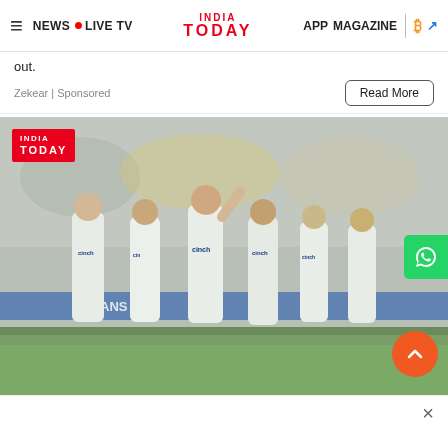NEWS • LIVE TV INDIA TODAY APP MAGAZINE
out.
Zekear | Sponsored
Read More
[Figure (photo): England cricket team players in white cinch-sponsored uniforms walking off the field, with an India Today logo overlay in the top-left corner, a WhatsApp button on the right, and a scroll-to-top button at the bottom-right.]